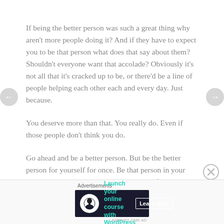If being the better person was such a great thing why aren't more people doing it? And if they have to expect you to be that person what does that say about them? Shouldn't everyone want that accolade? Obviously it's not all that it's cracked up to be, or there'd be a line of people helping each other each and every day. Just because.
You deserve more than that. You really do. Even if those people don't think you do.
Go ahead and be a better person. But be the better person for yourself for once. Be that person in your corner, that cheerleader in your moment of doubt, the
Advertisements
[Figure (screenshot): Advertisement banner: dark navy background with white circular icon featuring a tree/person silhouette, teal text 'Launch your online course with WordPress', and a 'Learn More' button with white border.]